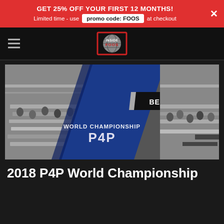GET 25% OFF YOUR FIRST 12 MONTHS! Limited time - use promo code: FOOS at checkout
[Figure (logo): InsideFoos logo — globe graphic with 'INSIDEFOOS' text in red and white on dark background]
[Figure (photo): 2018 P4P World Championship promotional image showing foosball tournament hall in Berlin, 2018 with 'WORLD CHAMPIONSHIP P4P' text overlay on blue diagonal design]
2018 P4P World Championship